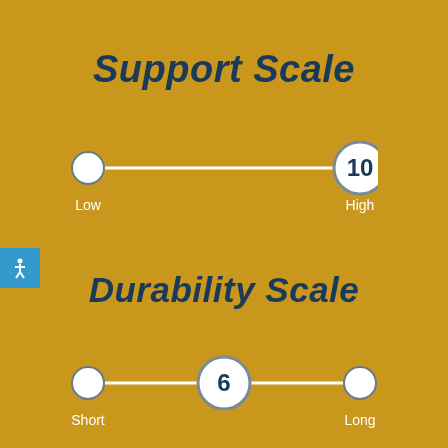Support Scale
[Figure (infographic): A horizontal slider scale showing Support Scale from Low to High, with the indicator at 10 (High end). A small circle marks the Low end and a larger circle with '10' inside marks the High end.]
Durability Scale
[Figure (infographic): A horizontal slider scale showing Durability Scale from Short to Long, with the indicator at 6 (middle). A small circle marks each end and a larger circle with '6' inside marks the midpoint.]